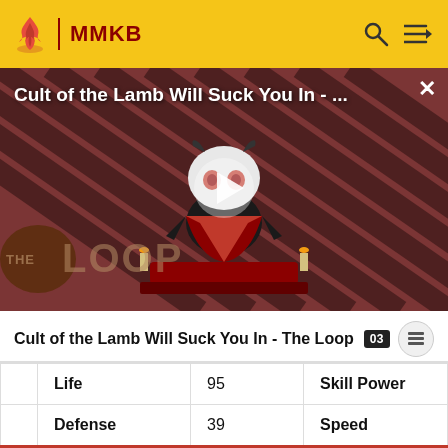MMKB
[Figure (screenshot): Video thumbnail showing 'Cult of the Lamb Will Suck You In - The Loop' with a cartoon lamb character on a red striped background, with a play button overlay and 'THE LOOP' text badge at the bottom left.]
Cult of the Lamb Will Suck You In - The Loop
| Attribute | Value | Attribute | Value |
| --- | --- | --- | --- |
| Life | 95 | Skill Power |  |
| Defense | 39 | Speed |  |